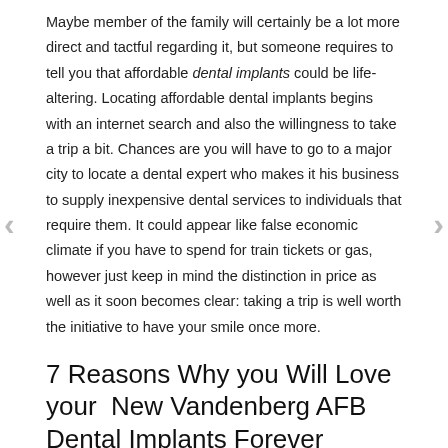Maybe member of the family will certainly be a lot more direct and tactful regarding it, but someone requires to tell you that affordable dental implants could be life-altering. Locating affordable dental implants begins with an internet search and also the willingness to take a trip a bit. Chances are you will have to go to a major city to locate a dental expert who makes it his business to supply inexpensive dental services to individuals that require them. It could appear like false economic climate if you have to spend for train tickets or gas, however just keep in mind the distinction in price as well as it soon becomes clear: taking a trip is well worth the initiative to have your smile once more.
7 Reasons Why you Will Love your New Vandenberg AFB Dental Implants Forever
Dental Implants look and really feel like your very own teeth. They are permanent as well as will certainly look fantastic
Enhanced speech, due to the fact that the dental implants